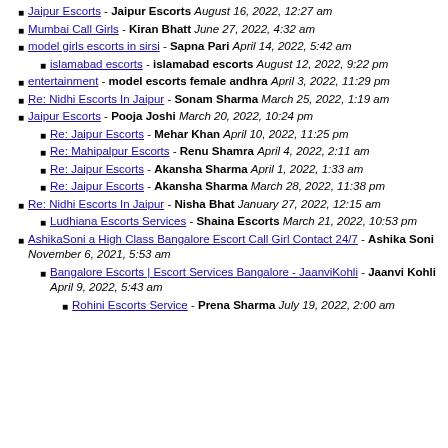Jaipur Escorts - Jaipur Escorts August 16, 2022, 12:27 am
Mumbai Call Girls - Kiran Bhatt June 27, 2022, 4:32 am
model girls escorts in sirsi - Sapna Pari April 14, 2022, 5:42 am
islamabad escorts - islamabad escorts August 12, 2022, 9:22 pm
entertainment - model escorts female andhra April 3, 2022, 11:29 pm
Re: Nidhi Escorts In Jaipur - Sonam Sharma March 25, 2022, 1:19 am
Jaipur Escorts - Pooja Joshi March 20, 2022, 10:24 pm
Re: Jaipur Escorts - Mehar Khan April 10, 2022, 11:25 pm
Re: Mahipalpur Escorts - Renu Shamra April 4, 2022, 2:11 am
Re: Jaipur Escorts - Akansha Sharma April 1, 2022, 1:33 am
Re: Jaipur Escorts - Akansha Sharma March 28, 2022, 11:38 pm
Re: Nidhi Escorts In Jaipur - Nisha Bhat January 27, 2022, 12:15 am
Ludhiana Escorts Services - Shaina Escorts March 21, 2022, 10:53 pm
AshikaSoni a High Class Bangalore Escort Call Girl Contact 24/7 - Ashika Soni November 6, 2021, 5:53 am
Bangalore Escorts | Escort Services Bangalore - JaanviKohli - Jaanvi Kohli April 9, 2022, 5:43 am
Rohini Escorts Service - Prena Sharma July 19, 2022, 2:00 am